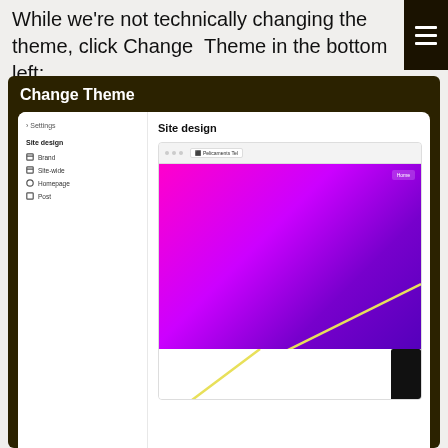While we're not technically changing the theme, click Change Theme in the bottom left:
[Figure (screenshot): Screenshot of a website builder interface showing 'Change Theme' panel with dark background. Inside is a browser window preview showing a 'Site design' settings panel on the left with options for Brand, Site-wide, Homepage, Post, and a large gradient preview area (magenta to purple) on the right with a diagonal yellow line and a black rectangle in the bottom right corner.]